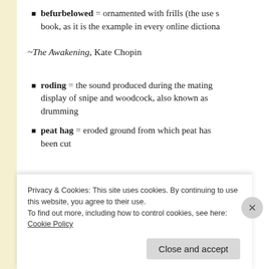befurbelowed = ornamented with frills (the use s... book, as it is the example in every online dictiona...
~The Awakening, Kate Chopin
roding = the sound produced during the mating display of snipe and woodcock, also known as drumming
peat hag = eroded ground from which peat has been cut
Privacy & Cookies: This site uses cookies. By continuing to use this website, you agree to their use.
To find out more, including how to control cookies, see here: Cookie Policy